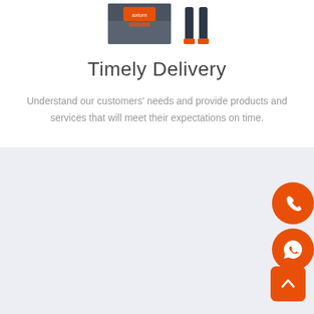[Figure (illustration): Delivery person with boxes illustration, partially cropped at top]
Timely Delivery
Understand our customers' needs and provide products and services that will meet their expectations on time.
[Figure (infographic): Orange circle icons: phone call icon and WhatsApp chat icon, stacked vertically on right side; orange rounded square scroll-to-top arrow button at bottom right]